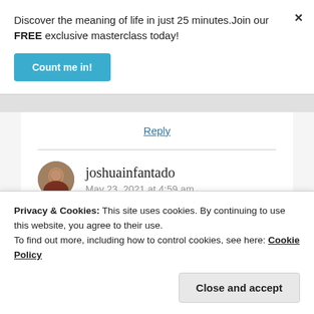Discover the meaning of life in just 25 minutes.Join our FREE exclusive masterclass today!
Count me in!
×
Reply
joshuainfantado
May 23, 2021 at 4:59 am
Privacy & Cookies: This site uses cookies. By continuing to use this website, you agree to their use.
To find out more, including how to control cookies, see here: Cookie Policy
Close and accept